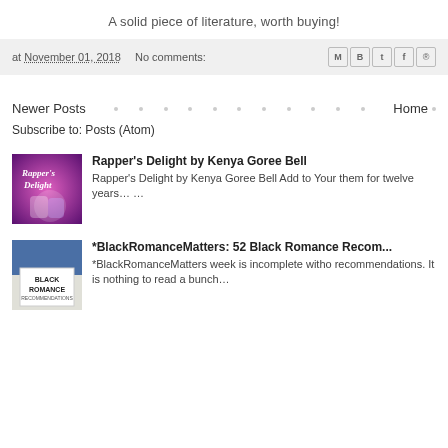A solid piece of literature, worth buying!
at November 01, 2018   No comments:
Newer Posts • • • • • • • • • • • • Home
Subscribe to: Posts (Atom)
Rapper's Delight by Kenya Goree Bell
Rapper's Delight by Kenya Goree Bell Add to Your them for twelve years… …
*BlackRomanceMatters: 52 Black Romance Reco...
*BlackRomanceMatters week is incomplete witho recommendations. It is nothing to read a bunch…